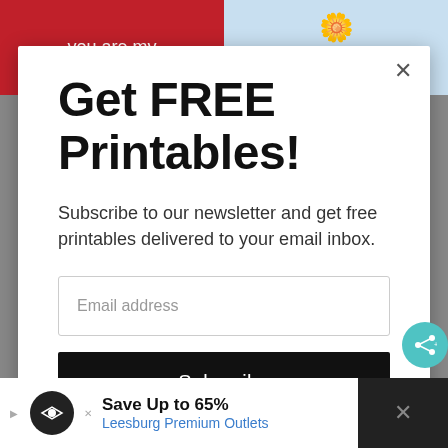[Figure (screenshot): Background showing greeting card thumbnails - a red card with 'you are my' text and a light blue card with daisies and 'only days until' text]
Get FREE Printables!
Subscribe to our newsletter and get free printables delivered to your email inbox.
Email address
Subscribe
[Figure (screenshot): Advertisement banner: Save Up to 65% - Leesburg Premium Outlets]